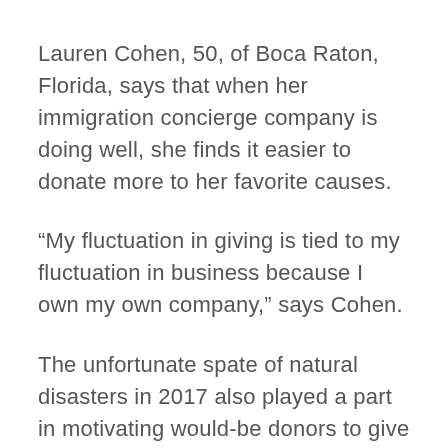Lauren Cohen, 50, of Boca Raton, Florida, says that when her immigration concierge company is doing well, she finds it easier to donate more to her favorite causes.
“My fluctuation in giving is tied to my fluctuation in business because I own my own company,” says Cohen.
The unfortunate spate of natural disasters in 2017 also played a part in motivating would-be donors to give more, with 15 percent of those in the survey indicating that hurricanes and other catastrophic phenomena were responsible for their increased